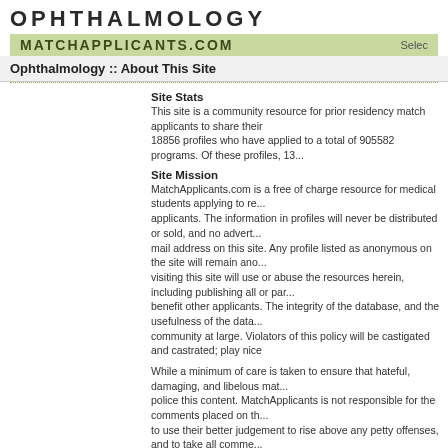OPHTHALMOLOGY
MATCHAPPLICANTS.COM
Ophthalmology :: About This Site
Site Stats
This site is a community resource for prior residency match applicants to share their 18856 profiles who have applied to a total of 905582 programs. Of these profiles, 13...
Site Mission
MatchApplicants.com is a free of charge resource for medical students applying to re... applicants. The information in profiles will never be distributed or sold, and no advert... mail address on this site. Any profile listed as anonymous on the site will remain ano... visiting this site will use or abuse the resources herein, including publishing all or par... benefit other applicants. The integrity of the database, and the usefulness of the data... community at large. Violators of this policy will be castigated and castrated; play nice
While a minimum of care is taken to ensure that hateful, damaging, and libelous mate... police this content. MatchApplicants is not responsible for the comments placed on th... to use their better judgement to rise above any petty offenses, and to take all comme...
Contact Information
General Contact:
- admin@matchapplicants.com
Bug Reports:
- bugs@matchapplicants.com
About The Administrator
The administrator is a graduate of Stanford University and the Bryn Mawr College Po... pursuing a career in medicine, he worked in several software engineering and inform... Modern Media. During the application process he worked at The Children's Hospital o... School of Medicine Center For Clinical Epidemiology & Biostatistics. Currently, the au... State University College of Medicine. His interests lie in ophthalmology, medical infor...
The author would like to thank John Bishop for giving his web projects a home, and t... development and as a resource for recruiting.